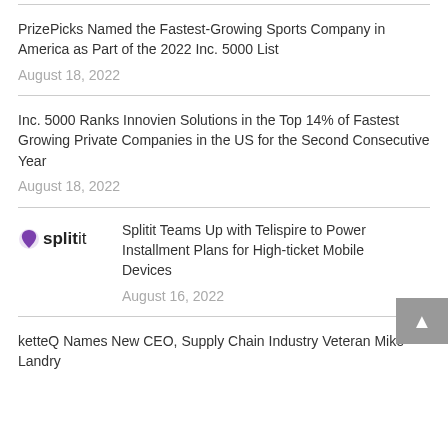PrizePicks Named the Fastest-Growing Sports Company in America as Part of the 2022 Inc. 5000 List
August 18, 2022
Inc. 5000 Ranks Innovien Solutions in the Top 14% of Fastest Growing Private Companies in the US for the Second Consecutive Year
August 18, 2022
[Figure (logo): Splitit logo — purple droplet icon followed by the word 'splitit' in bold/light weight]
Splitit Teams Up with Telispire to Power Installment Plans for High-ticket Mobile Devices
August 16, 2022
ketteQ Names New CEO, Supply Chain Industry Veteran Mike Landry